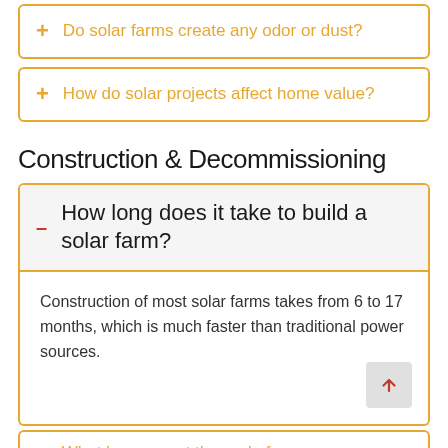Do solar farms create any odor or dust?
How do solar projects affect home value?
Construction & Decommissioning
How long does it take to build a solar farm?
Construction of most solar farms takes from 6 to 17 months, which is much faster than traditional power sources.
What happens at the end of